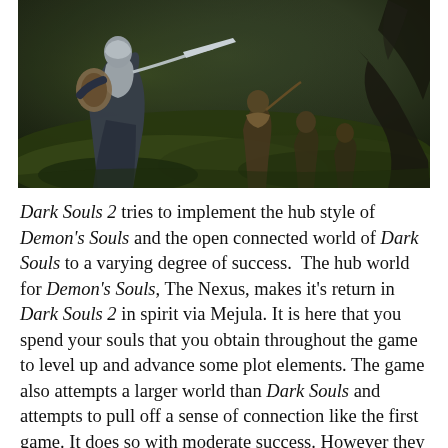[Figure (screenshot): Dark Souls 2 gameplay screenshot showing an armored warrior with a sword and shield facing multiple enemies in a dark, mossy forest environment.]
Dark Souls 2 tries to implement the hub style of Demon's Souls and the open connected world of Dark Souls to a varying degree of success.  The hub world for Demon's Souls, The Nexus, makes it's return in Dark Souls 2 in spirit via Mejula. It is here that you spend your souls that you obtain throughout the game to level up and advance some plot elements. The game also attempts a larger world than Dark Souls and attempts to pull off a sense of connection like the first game. It does so with moderate success. However they have given you the option to fast travel at the very beginning of the game. I speculate that this is to skimp